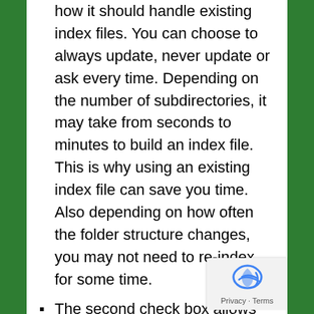how it should handle existing index files. You can choose to always update, never update or ask every time. Depending on the number of subdirectories, it may take from seconds to minutes to build an index file. This is why using an existing index file can save you time. Also depending on how often the folder structure changes, you may not need to re-index for some time.
The second check box allows you to ignore the modification dates of files that the script finds. Sometimes if you wish to relink to newer or older files of the same name, it may be useful to ignore the modification dates of these files before relinking.
The third option setting allows you to...